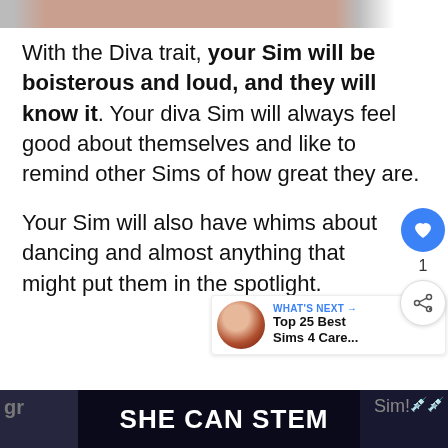[Figure (photo): Partial top strip showing cropped images of people, partially visible at the top of the page.]
With the Diva trait, your Sim will be boisterous and loud, and they will know it. Your diva Sim will always feel good about themselves and like to remind other Sims of how great they are.
Your Sim will also have whims about dancing and almost anything that might put them in the spotlight.
Although annoying at times, the diva trait is
[Figure (screenshot): UI overlay showing a blue heart/like button, a count of 1, and a share button on the right side of the page.]
[Figure (screenshot): WHAT'S NEXT banner with avatar image and text 'Top 25 Best Sims 4 Care...']
SHE CAN STEM